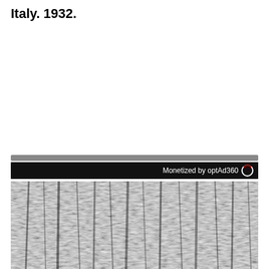Italy. 1932.
[Figure (photo): Black and white photograph showing dense vertical streaks and forms, appearing to be a close-up or abstracted view of fibrous or architectural elements in high contrast monochrome.]